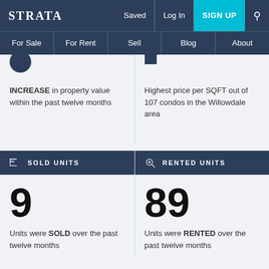STRATA | Saved | Log In | SIGN UP
For Sale | For Rent | Sell | Blog | About
INCREASE in property value within the past twelve months
Highest price per SQFT out of 107 condos in the Willowdale area
SOLD UNITS
RENTED UNITS
9 — Units were SOLD over the past twelve months
89 — Units were RENTED over the past twelve months